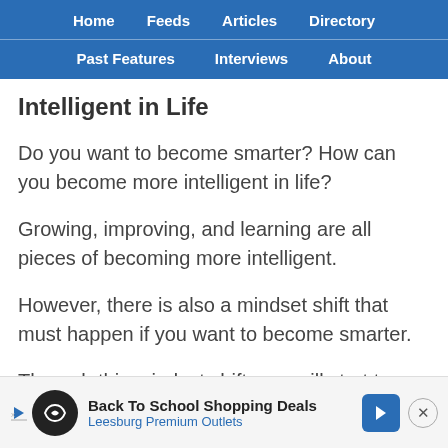Home   Feeds   Articles   Directory   Past Features   Interviews   About
Intelligent in Life
Do you want to become smarter? How can you become more intelligent in life?
Growing, improving, and learning are all pieces of becoming more intelligent.
However, there is also a mindset shift that must happen if you want to become smarter.
Through this mindset shift, you will start to change as a...
[Figure (screenshot): Advertisement banner: Back To School Shopping Deals - Leesburg Premium Outlets, with blue arrow icon and close button]